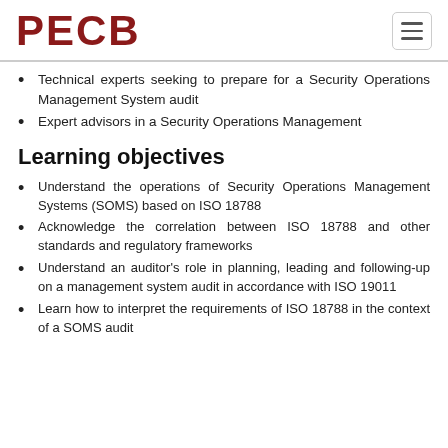PECB
Technical experts seeking to prepare for a Security Operations Management System audit
Expert advisors in a Security Operations Management
Learning objectives
Understand the operations of Security Operations Management Systems (SOMS) based on ISO 18788
Acknowledge the correlation between ISO 18788 and other standards and regulatory frameworks
Understand an auditor's role in planning, leading and following-up on a management system audit in accordance with ISO 19011
Learn how to interpret the requirements of ISO 18788 in the context of a SOMS audit